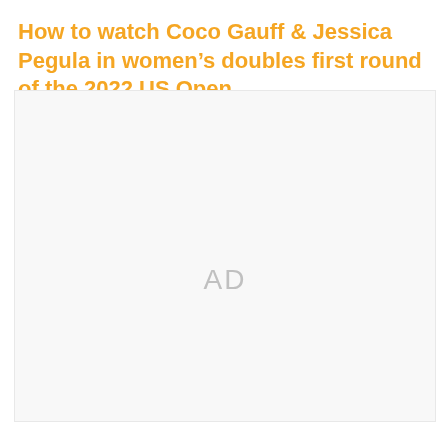How to watch Coco Gauff & Jessica Pegula in women's doubles first round of the 2022 US Open
[Figure (other): Advertisement placeholder area showing 'AD' in light gray text on white background]